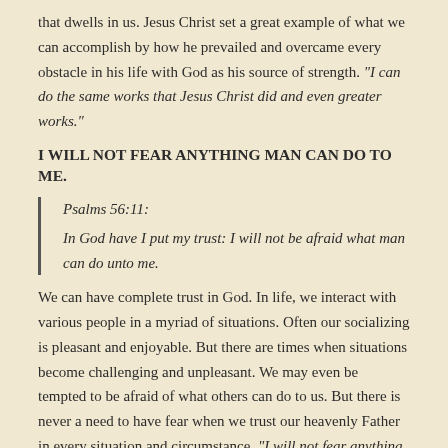that dwells in us. Jesus Christ set a great example of what we can accomplish by how he prevailed and overcame every obstacle in his life with God as his source of strength. “I can do the same works that Jesus Christ did and even greater works.”
I WILL NOT FEAR ANYTHING MAN CAN DO TO ME.
Psalms 56:11:
In God have I put my trust: I will not be afraid what man can do unto me.
We can have complete trust in God. In life, we interact with various people in a myriad of situations. Often our socializing is pleasant and enjoyable. But there are times when situations become challenging and unpleasant. We may even be tempted to be afraid of what others can do to us. But there is never a need to have fear when we trust our heavenly Father in every situation and circumstance. “I will not fear anything man can do to me.”